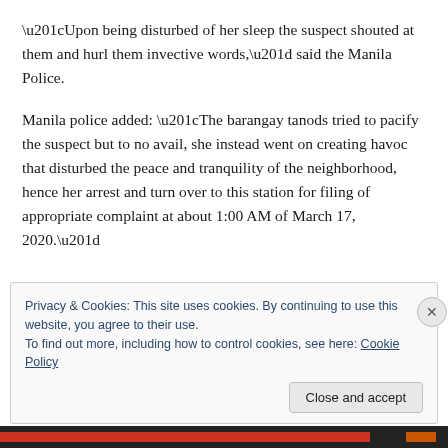“Upon being disturbed of her sleep the suspect shouted at them and hurl them invective words,” said the Manila Police.
Manila police added: “The barangay tanods tried to pacify the suspect but to no avail, she instead went on creating havoc that disturbed the peace and tranquility of the neighborhood, hence her arrest and turn over to this station for filing of appropriate complaint at about 1:00 AM of March 17, 2020.”
Privacy & Cookies: This site uses cookies. By continuing to use this website, you agree to their use.
To find out more, including how to control cookies, see here: Cookie Policy